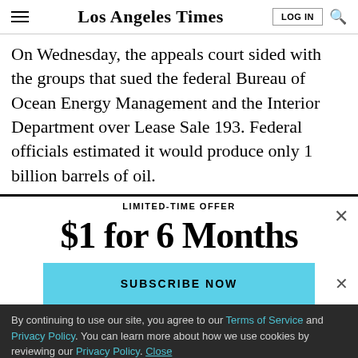Los Angeles Times | LOG IN | [search]
On Wednesday, the appeals court sided with the groups that sued the federal Bureau of Ocean Energy Management and the Interior Department over Lease Sale 193. Federal officials estimated it would produce only 1 billion barrels of oil.
LIMITED-TIME OFFER
$1 for 6 Months
SUBSCRIBE NOW
By continuing to use our site, you agree to our Terms of Service and Privacy Policy. You can learn more about how we use cookies by reviewing our Privacy Policy. Close